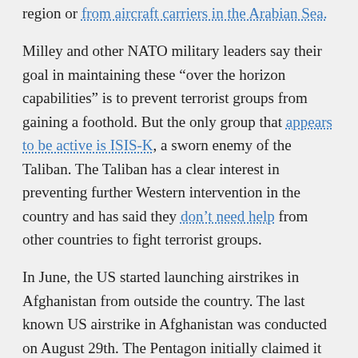region or from aircraft carriers in the Arabian Sea.
Milley and other NATO military leaders say their goal in maintaining these “over the horizon capabilities” is to prevent terrorist groups from gaining a foothold. But the only group that appears to be active is ISIS-K, a sworn enemy of the Taliban. The Taliban has a clear interest in preventing further Western intervention in the country and has said they don’t need help from other countries to fight terrorist groups.
In June, the US started launching airstrikes in Afghanistan from outside the country. The last known US airstrike in Afghanistan was conducted on August 29th. The Pentagon initially claimed it killed an ISIS-K member, but due to media scrutiny, it had to admit it killed no ISIS fighters. Instead, 10 civilians, including seven children, were killed by the US drone strike.